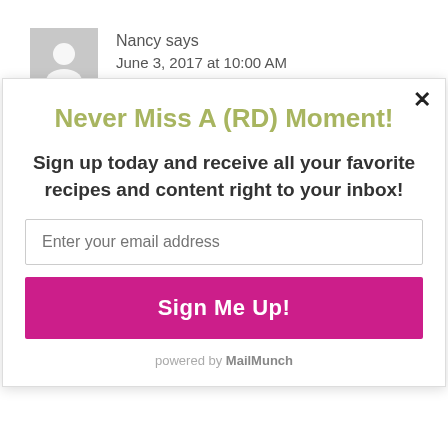Nancy says
June 3, 2017 at 10:00 AM
Never Miss A (RD) Moment!
Sign up today and receive all your favorite recipes and content right to your inbox!
Enter your email address
Sign Me Up!
powered by MailMunch